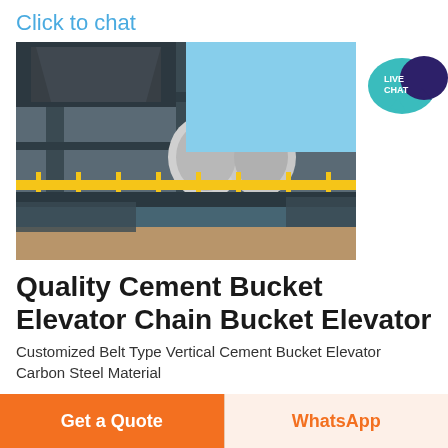Click to chat
[Figure (photo): Industrial cement bucket elevator / industrial machinery with yellow structural steel frame, platform with yellow railing, heavy equipment components, photographed against a blue sky in an outdoor arid environment. Live chat speech bubble icon in teal/dark blue in upper right corner.]
Quality Cement Bucket Elevator Chain Bucket Elevator
Customized Belt Type Vertical Cement Bucket Elevator Carbon Steel Material